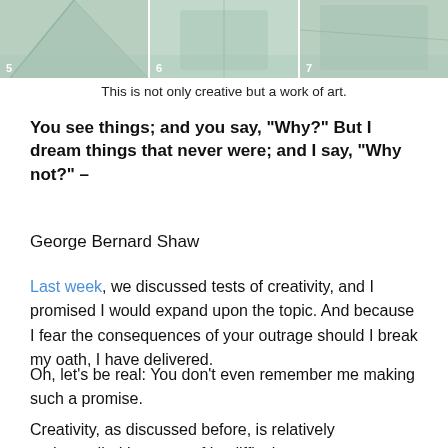[Figure (photo): Three photos side by side showing light green/sage fabric folded or arranged, numbered 5, 6, and 7 at the bottom left of each panel.]
This is not only creative but a work of art.
You see things; and you say, “Why?” But I dream things that never were; and I say, “Why not?” – George Bernard Shaw
Last week, we discussed tests of creativity, and I promised I would expand upon the topic. And because I fear the consequences of your outrage should I break my oath, I have delivered.
Oh, let’s be real: You don’t even remember me making such a promise.
Creativity, as discussed before, is relatively understudied because of its difficulty to